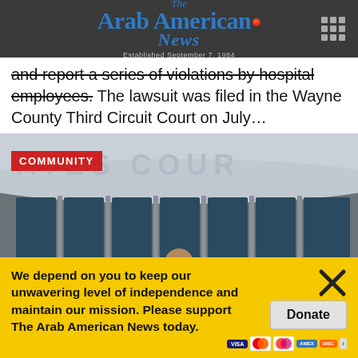The Arab American News — Established September 7, 1984
and report a series of violations by hospital employees. The lawsuit was filed in the Wayne County Third Circuit Court on July…
[Figure (photo): Exterior of a courthouse building showing partial sign reading 'ATES COUR' (Gates Court / Wayne County court building), with a person standing in front. Red 'COMMUNITY' badge in upper left corner.]
We depend on you to keep our unwavering level of independence and maintain our mission. Please support The Arab American News today.